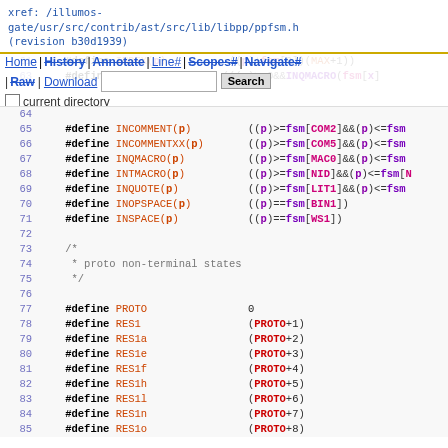xref: /illumos-gate/usr/src/contrib/ast/src/lib/libpp/ppfsm.h (revision b30d1939)
Home | History | Annotate | Line# | Scopes# | Navigate# | Raw | Download | Search | current directory
Code lines 61-85 of ppfsm.h showing #define macros: INCOMMENT, INCOMMENTXX, INQMACRO, INTMACRO, INQUOTE, INOPSPACE, INSPACE, PROTO, RES1, RES1a, RES1e, RES1f, RES1h, RES1l, RES1n, RES1o